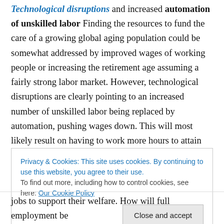Attribute 2: Technological disruptions and increased automation of unskilled labor Finding the resources to fund the care of a growing global aging population could be somewhat addressed by improved wages of working people or increasing the retirement age assuming a fairly strong labor market. However, technological disruptions are clearly pointing to an increased number of unskilled labor being replaced by automation, pushing wages down. This will most likely result on having to work more hours to attain basic sustenance, in a market where labor demand is shrinking and taxes are increasing. This situation
Privacy & Cookies: This site uses cookies. By continuing to use this website, you agree to their use. To find out more, including how to control cookies, see here: Our Cookie Policy
jobs to support their welfare. How will full employment be